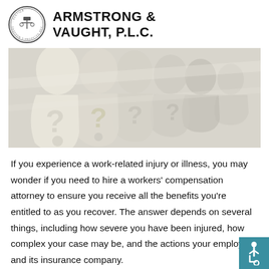Armstrong & Vaught, P.L.C.
[Figure (illustration): Decorative paper-cut style illustration showing multiple human head silhouettes with question marks, in shades of white and gray, suggesting people with questions about legal matters.]
If you experience a work-related injury or illness, you may wonder if you need to hire a workers' compensation attorney to ensure you receive all the benefits you're entitled to as you recover. The answer depends on several things, including how severe you have been injured, how complex your case may be, and the actions your employer and its insurance company.